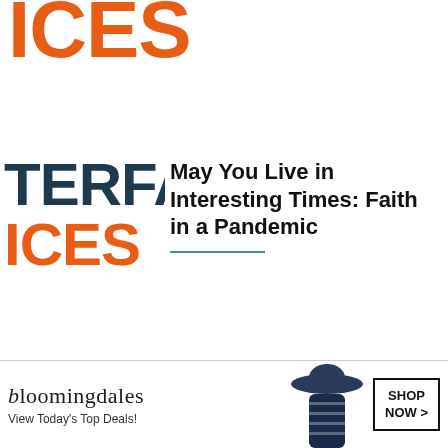[Figure (logo): Partial INTERFACES logo showing orange ICES text at top of page]
[Figure (logo): Partial INTERFACES logo (TERFA in dark teal and ICES in orange) beside article card 1]
May You Live in Interesting Times: Faith in a Pandemic
[Figure (logo): Partial INTERFACES logo (TERFA in dark teal and ICES in orange) beside article card 2]
Protest, Power and Love
Toni Newman: "I'm
[Figure (photo): Bloomingdale's advertisement banner at bottom: logo text, woman in hat photo, SHOP NOW button, View Today's Top Deals!]